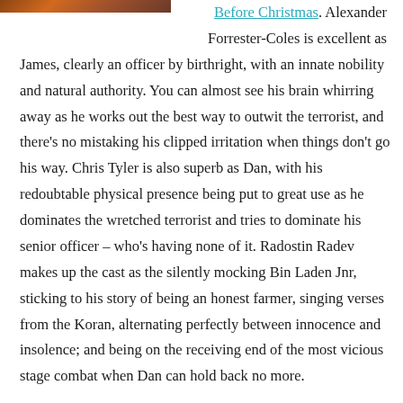[Figure (photo): Partial image of a scene, cropped at top-left corner]
Before Christmas. Alexander Forrester-Coles is excellent as James, clearly an officer by birthright, with an innate nobility and natural authority. You can almost see his brain whirring away as he works out the best way to outwit the terrorist, and there's no mistaking his clipped irritation when things don't go his way. Chris Tyler is also superb as Dan, with his redoubtable physical presence being put to great use as he dominates the wretched terrorist and tries to dominate his senior officer – who's having none of it. Radostin Radev makes up the cast as the silently mocking Bin Laden Jnr, sticking to his story of being an honest farmer, singing verses from the Koran, alternating perfectly between innocence and insolence; and being on the receiving end of the most vicious stage combat when Dan can hold back no more.